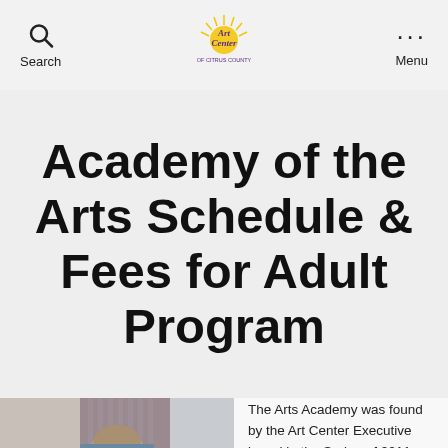Search | Art Center of Citrus County | Menu
Academy of the Arts Schedule & Fees for Adult Program
[Figure (photo): Person seen from behind, sitting, with short hair, in an art studio or classroom setting]
The Arts Academy was found by the Art Center Executive board in the Spring of 2011, with th...